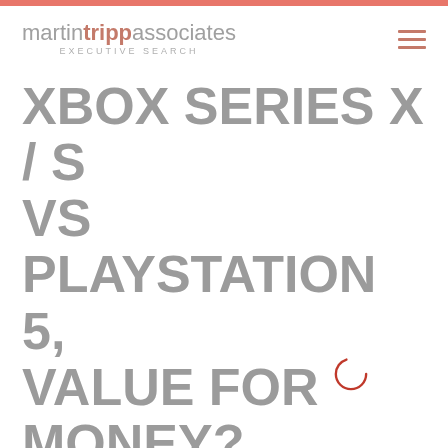martin tripp associates EXECUTIVE SEARCH
XBOX SERIES X / S VS PLAYSTATION 5, VALUE FOR MONEY?
S o ny and Micros oft
[Figure (photo): A woman with hands on her head looking surprised, sitting in front of a lamp and framed art]